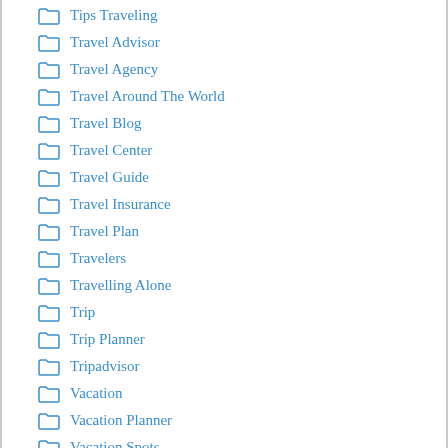Tips Traveling
Travel Advisor
Travel Agency
Travel Around The World
Travel Blog
Travel Center
Travel Guide
Travel Insurance
Travel Plan
Travelers
Travelling Alone
Trip
Trip Planner
Tripadvisor
Vacation
Vacation Planner
Vacation Spots